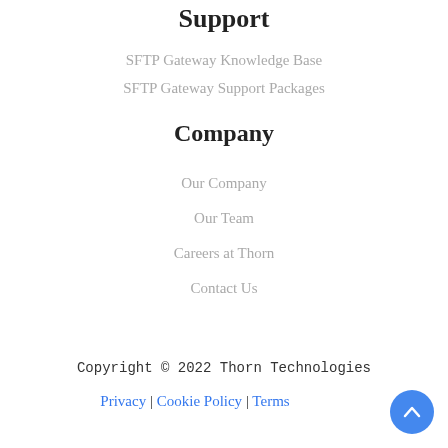Support
SFTP Gateway Knowledge Base
SFTP Gateway Support Packages
Company
Our Company
Our Team
Careers at Thorn
Contact Us
Copyright © 2022 Thorn Technologies
Privacy | Cookie Policy | Terms